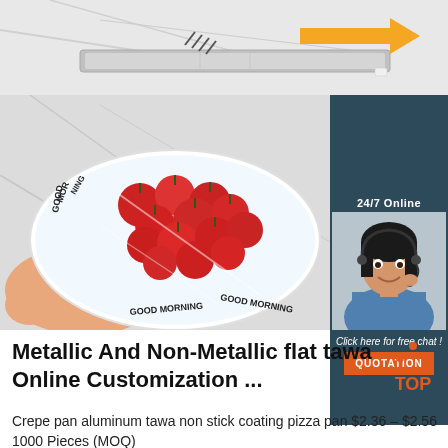[Figure (photo): Top section: plastic wrap dispenser on marble surface with orange arrow, small white piece visible. Below: hand holding a white plate with 'Good Morning' text and covered in clear cling wrap with cherry tomatoes beneath.]
[Figure (photo): 24/7 Online chat widget with a female customer service agent wearing headset, smiling, in blue shirt. Dark blue/teal background. 'Click here for free chat!' text and orange QUOTATION button.]
Metallic And Non-Metallic flat tawa Online Customization ...
[Figure (logo): TOP logo in orange/red color with dot pattern forming a triangle above the word TOP]
Crepe pan aluminum tawa non stick coating pizza pan  $2.36 – $2.56  1000 Pieces (MOQ)